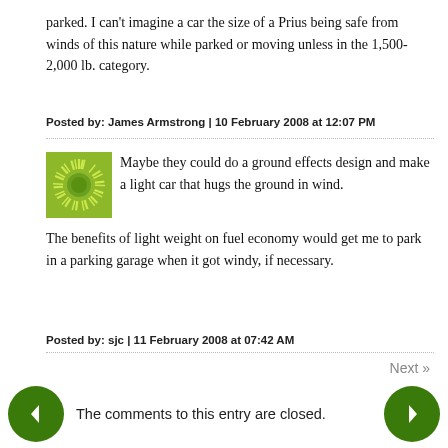parked. I can't imagine a car the size of a Prius being safe from winds of this nature while parked or moving unless in the 1,500-2,000 lb. category.
Posted by: James Armstrong | 10 February 2008 at 12:07 PM
Maybe they could do a ground effects design and make a light car that hugs the ground in wind. The benefits of light weight on fuel economy would get me to park in a parking garage when it got windy, if necessary.
Posted by: sjc | 11 February 2008 at 07:42 AM
Next »
The comments to this entry are closed.